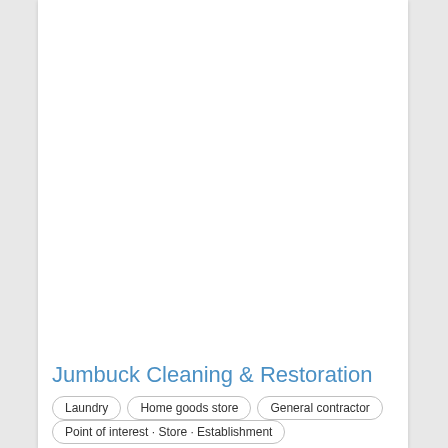Jumbuck Cleaning & Restoration
Laundry
Home goods store
General contractor
Point of interest · Store · Establishment